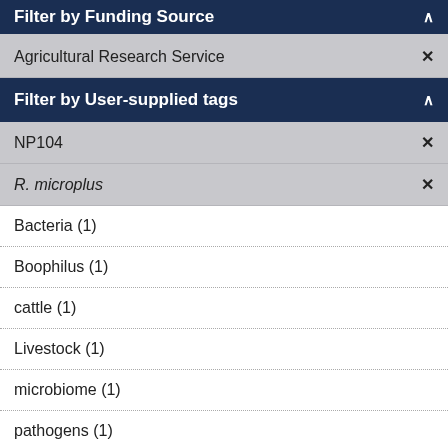Filter by Funding Source
Agricultural Research Service ×
Filter by User-supplied tags
NP104 ×
R. microplus ×
Bacteria (1)
Boophilus (1)
cattle (1)
Livestock (1)
microbiome (1)
pathogens (1)
pyrosequencing (1)
Rhipicephalus microplus (1)